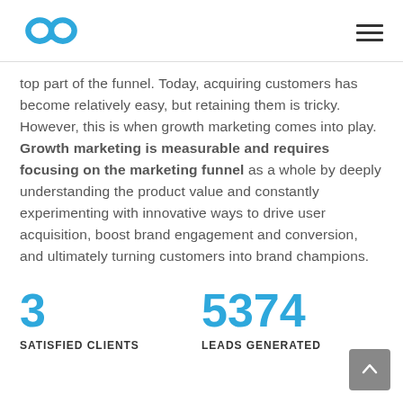[Figure (logo): Blue infinity loop / figure-8 logo mark]
top part of the funnel. Today, acquiring customers has become relatively easy, but retaining them is tricky. However, this is when growth marketing comes into play. Growth marketing is measurable and requires focusing on the marketing funnel as a whole by deeply understanding the product value and constantly experimenting with innovative ways to drive user acquisition, boost brand engagement and conversion, and ultimately turning customers into brand champions.
3
SATISFIED CLIENTS
5374
LEADS GENERATED